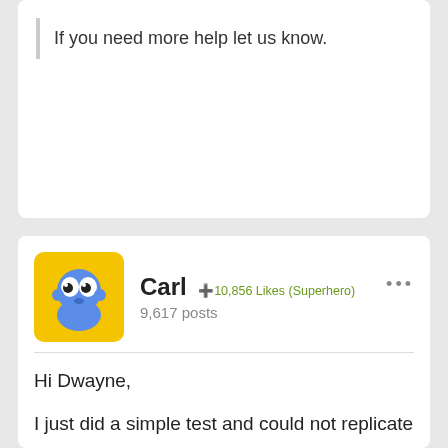If you need more help let us know.
Carl  +10,856 Likes (Superhero)
9,617 posts
Hi Dwayne,

I just did a simple test and could not replicate any error:
import com.greensock.*;

var tl:TimelineLite = new